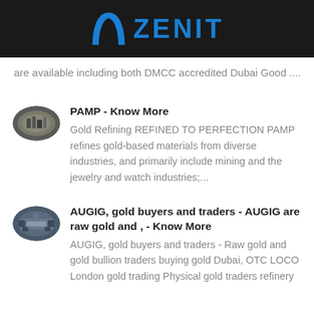ZENIT
are available including both DMCC accredited Dubai Good ....
PAMP - Know More
Gold Refining REFINED TO PERFECTION PAMP refines gold-based materials from diverse industries, and primarily include mining and the jewelry and watch industries;...
AUGIG, gold buyers and traders - AUGIG are raw gold and , - Know More
AUGIG, gold buyers and traders - Raw gold and gold bullion traders buying gold Dubai, OTC LOCO London gold trading Physical gold traders refinery